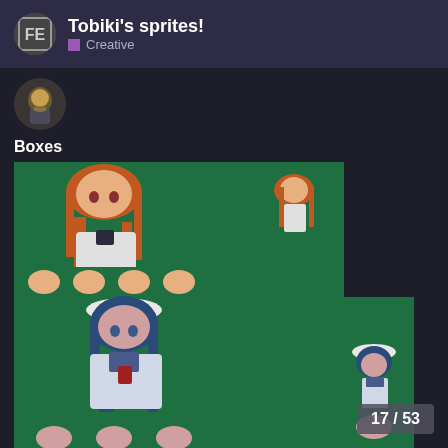Tobiki's sprites! — Creative
[Figure (illustration): Small circular avatar showing a pixel art or illustrated character with yellow/golden tones]
Boxes
[Figure (illustration): Pixel art sprite sheet on green background. Top section: a female character with long orange/red hair in two poses/sizes. Bottom section: a female character with long blue hair and white hat/cape in two poses/sizes. Multiple repeated facial expressions shown below each.]
17 / 53